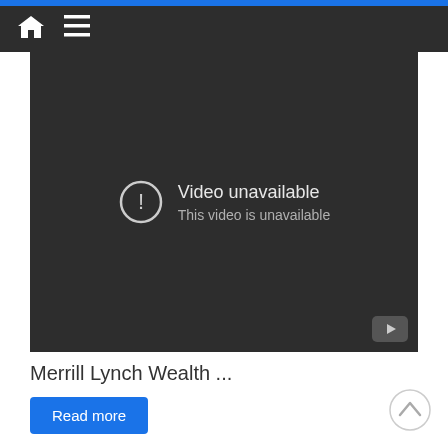Navigation bar with home and menu icons
[Figure (screenshot): YouTube embedded video player showing 'Video unavailable' error message with exclamation mark circle icon and YouTube logo in bottom right corner. Dark background.]
Merrill Lynch Wealth ...
Read more